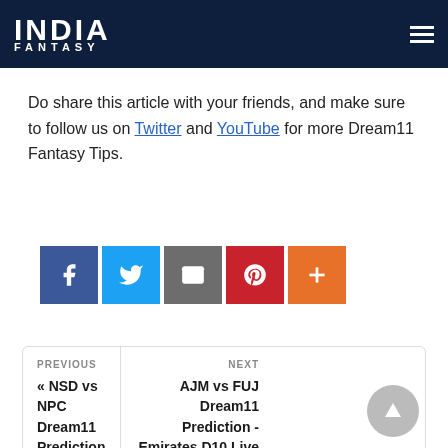INDIA FANTASY
Do share this article with your friends, and make sure to follow us on Twitter and YouTube for more Dream11 Fantasy Tips.
[Figure (infographic): Social sharing buttons: Facebook (blue), Twitter (light blue), Email (grey), Pinterest (red), More/Plus (orange)]
PREVIOUS
« NSD vs NPC Dream11 Prediction – Bengal T20 Live Score, Pitch Report, Player Stats, Dream11 Team, Today's Match
NEXT
AJM vs FUJ Dream11 Prediction - Emirates D10 Live Score, Pitch Report, Player Stats, Dream11 Fantasy Tips,